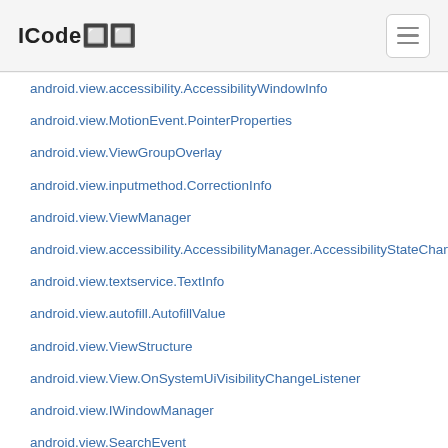ICode🔲🔲
android.view.accessibility.AccessibilityWindowInfo
android.view.MotionEvent.PointerProperties
android.view.ViewGroupOverlay
android.view.inputmethod.CorrectionInfo
android.view.ViewManager
android.view.accessibility.AccessibilityManager.AccessibilityStateChangeListener
android.view.textservice.TextInfo
android.view.autofill.AutofillValue
android.view.ViewStructure
android.view.View.OnSystemUiVisibilityChangeListener
android.view.IWindowManager
android.view.SearchEvent
android.view.autofill.AutofillManager
android.view.textservice.SuggestionsInfo
android.view.textservice.SentenceSuggestionsInfo
android.view.accessibility.CaptioningManager.CaptionStyle
android.view.PointerIcon
android.view.LayoutInflater.Filter
android.view.KeyboardShortcutGroup
android.view.ViewTreeObserver.OnGlobalFocusChangeListener